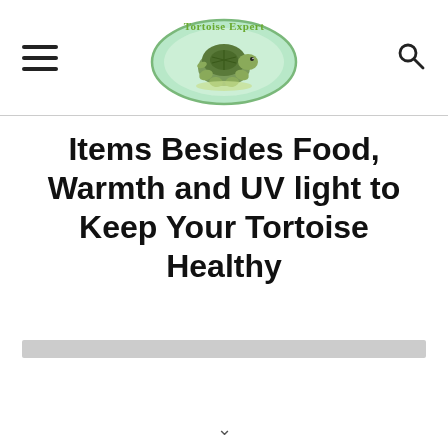Tortoise Expert (logo with hamburger menu and search icon)
Items Besides Food, Warmth and UV light to Keep Your Tortoise Healthy
[Figure (other): Gray horizontal bar / image placeholder]